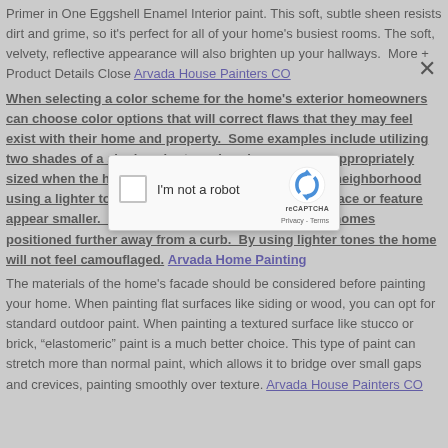Primer in One Eggshell Enamel Interior paint. This soft, subtle sheen resists dirt and grime, so it's perfect for all of your home's busiest rooms. The soft, velvety, reflective appearance will also brighten up your hallways.  More + Product Details Close Arvada House Painters CO
When selecting a color scheme for the home's exterior homeowners can choose color options that will correct flaws that they may feel exist with their home and property.  Some examples include utilizing two shades of a single color to make a home appear appropriately sized when the home may be at an upper level of a neighborhood.  Using a lighter tone of paint.  Darker colors make a space or feature appear smaller.  The same effect can be obtained for homes positioned further away from a curb.  By using lighter tones the home will not feel camouflaged. Arvada Home Painting
The materials of the home's facade should be considered before painting your home. When painting flat surfaces like siding or wood, you can opt for standard outdoor paint. When painting a textured surface like stucco or brick, "elastomeric" paint is a much better choice. This type of paint can stretch more than normal paint, which allows it to bridge over small gaps and crevices, painting smoothly over texture. Arvada House Painters CO
[Figure (screenshot): A reCAPTCHA modal dialog with a checkbox labeled 'I'm not a robot' and the reCAPTCHA logo. The modal appears over a grayed-out background with a close (X) button visible.]